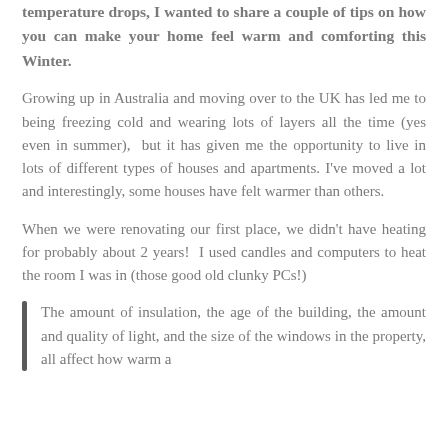temperature drops, I wanted to share a couple of tips on how you can make your home feel warm and comforting this Winter.
Growing up in Australia and moving over to the UK has led me to being freezing cold and wearing lots of layers all the time (yes even in summer),  but it has given me the opportunity to live in lots of different types of houses and apartments. I've moved a lot and interestingly, some houses have felt warmer than others.
When we were renovating our first place, we didn't have heating for probably about 2 years!  I used candles and computers to heat the room I was in (those good old clunky PCs!)
The amount of insulation, the age of the building, the amount and quality of light, and the size of the windows in the property, all affect how warm a